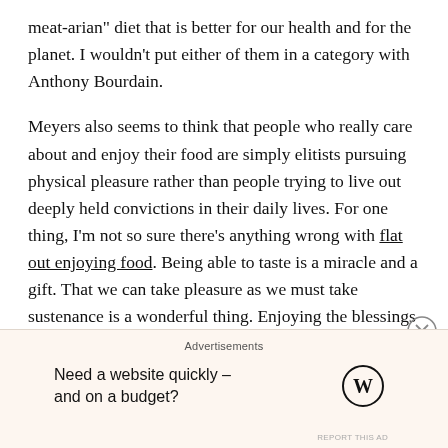meat-arian" diet that is better for our health and for the planet. I wouldn't put either of them in a category with Anthony Bourdain.
Meyers also seems to think that people who really care about and enjoy their food are simply elitists pursuing physical pleasure rather than people trying to live out deeply held convictions in their daily lives. For one thing, I'm not so sure there's anything wrong with flat out enjoying food. Being able to taste is a miracle and a gift. That we can take pleasure as we must take sustenance is a wonderful thing. Enjoying the blessings of food is a way of being thankful for it. I'm personally a "foodie" because I care deeply about my impact on the environment, the treatment of animals and workers, the
Advertisements
Need a website quickly – and on a budget?